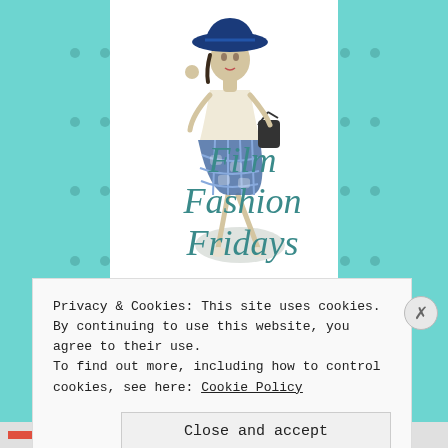[Figure (illustration): Website screenshot showing 'Film Fashion Fridays' blog header. Teal/aqua background with white center panel, decorative dot columns on left and right sides, and an illustrated fashion figure of a woman in a blue plaid skirt, white top, and blue wide-brim hat.]
Film Fashion Fridays
Privacy & Cookies: This site uses cookies. By continuing to use this website, you agree to their use. To find out more, including how to control cookies, see here: Cookie Policy
Close and accept